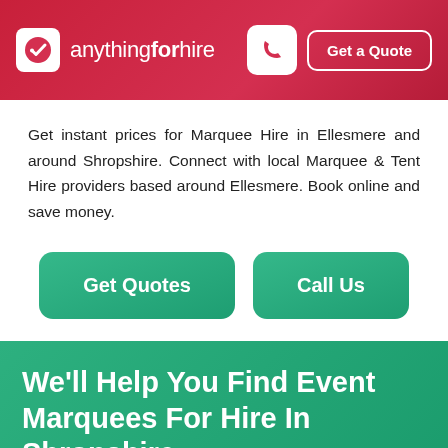anythingforhire — Get a Quote
Get instant prices for Marquee Hire in Ellesmere and around Shropshire. Connect with local Marquee & Tent Hire providers based around Ellesmere. Book online and save money.
Get Quotes | Call Us
We'll Help You Find Event Marquees For Hire In Shropshire
Marquee Hire in Ellesmere